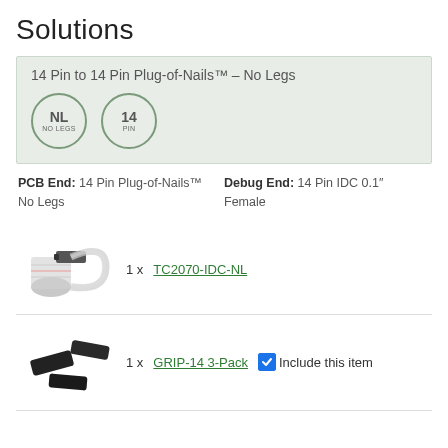Solutions
14 Pin to 14 Pin Plug-of-Nails™ – No Legs
[Figure (infographic): Two circular badges: NL (No Legs) badge and 14 PIN badge]
PCB End: 14 Pin Plug-of-Nails™ No Legs | Debug End: 14 Pin IDC 0.1″ Female
[Figure (photo): Photo of TC2070-IDC-NL flat ribbon cable connector]
1 x TC2070-IDC-NL
[Figure (photo): Photo of GRIP-14 3-Pack connector grips]
1 x GRIP-14 3-Pack  ☑ Include this item